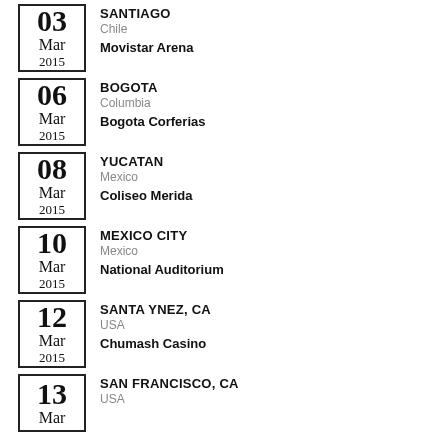03 Mar 2015 | SANTIAGO | Chile | Movistar Arena
06 Mar 2015 | BOGOTA | Columbia | Bogota Corferias
08 Mar 2015 | YUCATAN | Mexico | Coliseo Merida
10 Mar 2015 | MEXICO CITY | Mexico | National Auditorium
12 Mar 2015 | SANTA YNEZ, CA | USA | Chumash Casino
13 Mar 2015 | SAN FRANCISCO, CA | USA